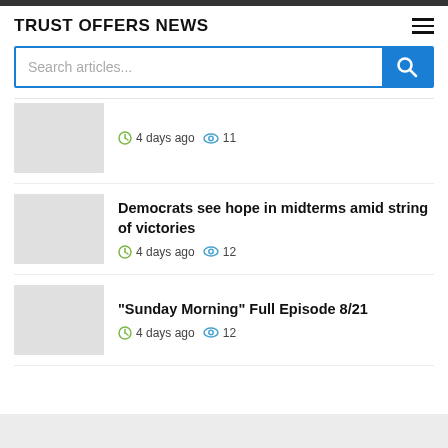TRUST OFFERS NEWS
[Figure (other): Search bar with blue border and blue search button with magnifying glass icon]
4 days ago  11
Democrats see hope in midterms amid string of victories
4 days ago  12
"Sunday Morning" Full Episode 8/21
4 days ago  12